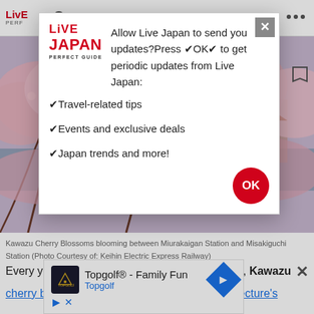[Figure (screenshot): Live Japan Perfect Guide website header with logo and navigation icons]
[Figure (photo): Kawazu Cherry Blossoms in bloom — pink cherry blossom trees along a waterway]
Kawazu Cherry Blossoms blooming between Miurakaigan Station and Misakiguchi Station (Photo Courtesy of: Keihin Electric Express Railway)
Every year, from mid-February until early-March, Kawazu cherry blossoms bloom around Kanagawa Prefecture's
[Figure (screenshot): Browser notification permission modal for Live Japan website asking user to allow push notifications for travel tips, events and deals, and Japan trends]
Allow Live Japan to send you updates?Press ✔OK✔ to get periodic updates from Live Japan:
✔Travel-related tips
✔Events and exclusive deals
✔Japan trends and more!
[Figure (screenshot): Topgolf advertisement banner: Topgolf® - Family Fun, with Topgolf logo and navigation arrow icon]